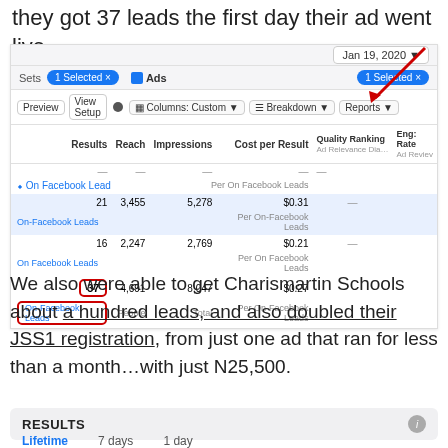they got 37 leads the first day their ad went live.
[Figure (screenshot): Facebook Ads Manager screenshot showing ad results for Jan 19, 2020. Table shows 3 rows: 21 On-Facebook Leads, 3455 Reach, 5278 Impressions, $0.31 Cost per Result; 16 On-Facebook Leads, 2247 Reach, 2769 Impressions, $0.21 Cost per Result; 37 On-Facebook Leads (highlighted with red box), 4691 People, 8047 Total, $0.27 Per On-Facebook Leads. Red arrow points to '1 Selected' button.]
We also were able to get Charismartin Schools about a hundred leads, and also doubled their JSS1 registration, from just one ad that ran for less than a month…with just N25,500.
RESULTS
Lifetime   7 days   1 day